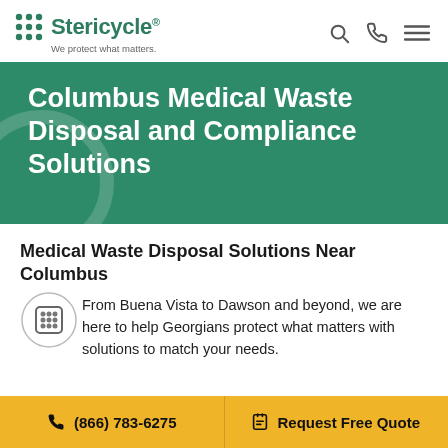[Figure (logo): Stericycle logo with green dot grid icon and tagline 'We protect what matters.']
Columbus Medical Waste Disposal and Compliance Solutions
Medical Waste Disposal Solutions Near Columbus
From Buena Vista to Dawson and beyond, we are here to help Georgians protect what matters with solutions to match your needs.
(866) 783-6275   Request Free Quote